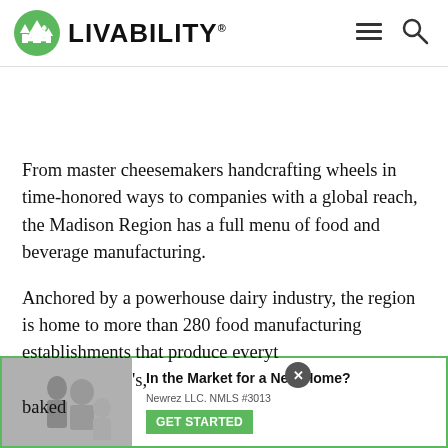LIVABILITY
From master cheesemakers handcrafting wheels in time-honored ways to companies with a global reach, the Madison Region has a full menu of food and beverage manufacturing.
Anchored by a powerhouse dairy industry, the region is home to more than 280 food manufacturing establishments that produce everything, baked
[Figure (screenshot): Advertisement overlay: 'In the Market for a New Home? Newrez LLC. NMLS #3013 GET STARTED' with an image of people and a green CTA button, with a close X button]